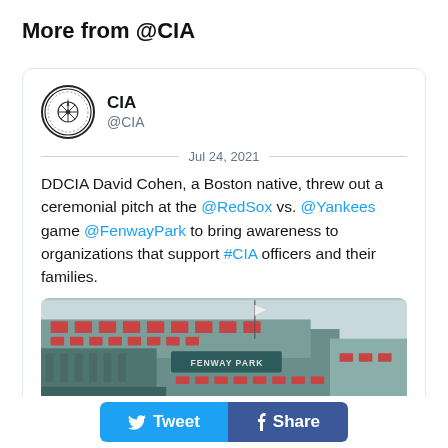More from @CIA
CIA @CIA
Jul 24, 2021
DDCIA David Cohen, a Boston native, threw out a ceremonial pitch at the @RedSox vs. @Yankees game @FenwayPark to bring awareness to organizations that support #CIA officers and their families.
[Figure (photo): Photo of Fenway Park exterior showing the green structure with scoreboards and signage reading FENWAY PARK, with a flag and clear sky in background.]
Tweet  Share